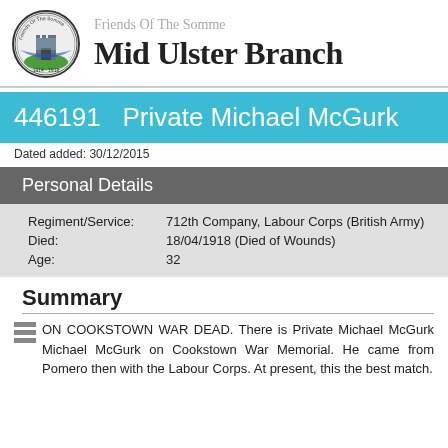Friends Of The Somme
Mid Ulster Branch
446191   Private Michael McGurk
Dated added: 30/12/2015
Personal Details
| Regiment/Service: | 712th Company, Labour Corps (British Army) |
| Died: | 18/04/1918 (Died of Wounds) |
| Age: | 32 |
Summary
ON COOKSTOWN WAR DEAD. There is Private Michael McGurk Michael McGurk on Cookstown War Memorial. He came from Pomero then with the Labour Corps. At present, this the best match.